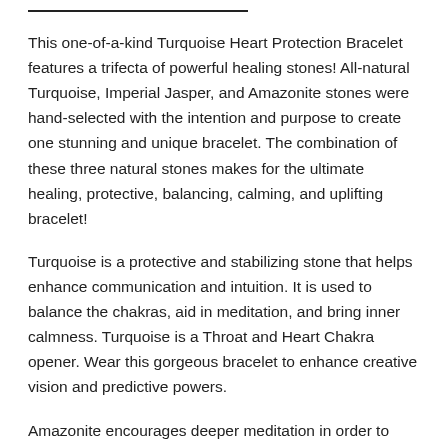This one-of-a-kind Turquoise Heart Protection Bracelet features a trifecta of powerful healing stones! All-natural Turquoise, Imperial Jasper, and Amazonite stones were hand-selected with the intention and purpose to create one stunning and unique bracelet. The combination of these three natural stones makes for the ultimate healing, protective, balancing, calming, and uplifting bracelet!
Turquoise is a protective and stabilizing stone that helps enhance communication and intuition. It is used to balance the chakras, aid in meditation, and bring inner calmness. Turquoise is a Throat and Heart Chakra opener. Wear this gorgeous bracelet to enhance creative vision and predictive powers.
Amazonite encourages deeper meditation in order to acquire karmic healing. This stone is known as the anti-anxiety stone within the healing crystal community.